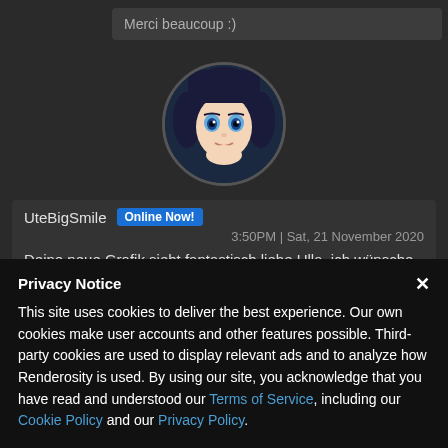Merci beaucoup :)
[Figure (illustration): Circular avatar image of an animated female character with dark blue hair and blue eyes, holding her chin with her hand, on a dark background]
UteBigSmile  Online Now!
3:50PM | Sat, 21 November 2020
Deine neue Grafik sieht fantastisch liebe Ulla, ich wünsche dir einen ruhigen Abend und ein schönes
Privacy Notice
This site uses cookies to deliver the best experience. Our own cookies make user accounts and other features possible. Third-party cookies are used to display relevant ads and to analyze how Renderosity is used. By using our site, you acknowledge that you have read and understood our Terms of Service, including our Cookie Policy and our Privacy Policy.